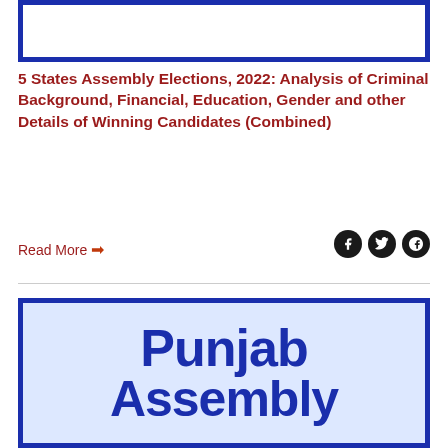[Figure (illustration): Top portion of a blue-bordered card/image for the 5 States Assembly Elections report]
5 States Assembly Elections, 2022: Analysis of Criminal Background, Financial, Education, Gender and other Details of Winning Candidates (Combined)
Read More →
[Figure (illustration): Blue-bordered card with text 'Punjab Assembly' in large bold blue letters on a light blue background]